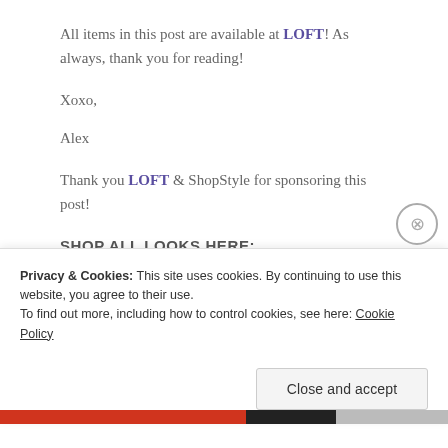All items in this post are available at LOFT! As always, thank you for reading!
Xoxo,
Alex
Thank you LOFT & ShopStyle for sponsoring this post!
SHOP ALL LOOKS HERE:
Privacy & Cookies: This site uses cookies. By continuing to use this website, you agree to their use.
To find out more, including how to control cookies, see here: Cookie Policy
Close and accept